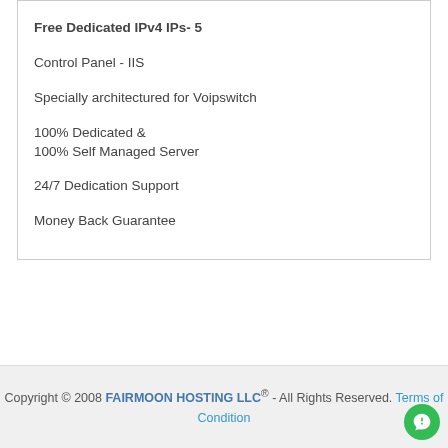Free Dedicated IPv4 IPs- 5
Control Panel - IIS
Specially architectured for Voipswitch
100% Dedicated &
100% Self Managed Server
24/7 Dedication Support
Money Back Guarantee
Copyright © 2008 FAIRMOON HOSTING LLC® - All Rights Reserved. Terms of Condition